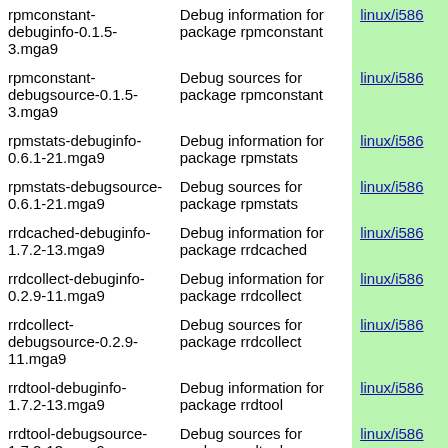| Package | Description | Arch |
| --- | --- | --- |
| rpmconstant-debuginfo-0.1.5-3.mga9 | Debug information for package rpmconstant | linux/i586 |
| rpmconstant-debugsource-0.1.5-3.mga9 | Debug sources for package rpmconstant | linux/i586 |
| rpmstats-debuginfo-0.6.1-21.mga9 | Debug information for package rpmstats | linux/i586 |
| rpmstats-debugsource-0.6.1-21.mga9 | Debug sources for package rpmstats | linux/i586 |
| rrdcached-debuginfo-1.7.2-13.mga9 | Debug information for package rrdcached | linux/i586 |
| rrdcollect-debuginfo-0.2.9-11.mga9 | Debug information for package rrdcollect | linux/i586 |
| rrdcollect-debugsource-0.2.9-11.mga9 | Debug sources for package rrdcollect | linux/i586 |
| rrdtool-debuginfo-1.7.2-13.mga9 | Debug information for package rrdtool | linux/i586 |
| rrdtool-debugsource-1.7.2-13.mga9 | Debug sources for package rrdtool | linux/i586 |
| rsh-debuginfo-0.17-38.mga9 | Debug information for package rsh | linux/i586 |
| rsh-debugsource-0.17-38.mga9 | Debug sources for package rsh | linux/i586 |